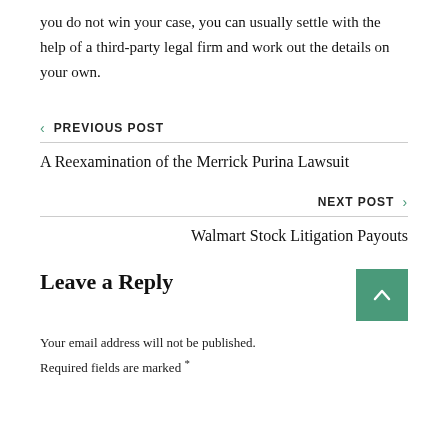you do not win your case, you can usually settle with the help of a third-party legal firm and work out the details on your own.
< PREVIOUS POST
A Reexamination of the Merrick Purina Lawsuit
NEXT POST >
Walmart Stock Litigation Payouts
Leave a Reply
Your email address will not be published.
Required fields are marked *